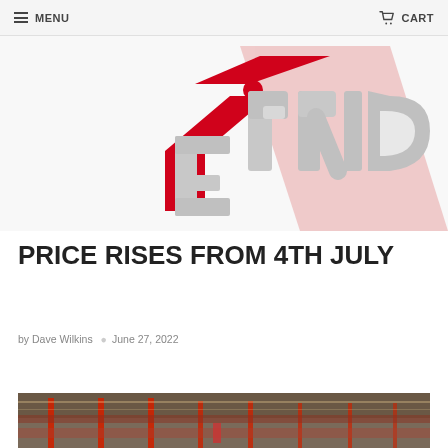MENU   CART
[Figure (illustration): 3D rendered image showing a red upward arrow and the word PRICE in large 3D grey letters on a white background]
PRICE RISES FROM 4TH JULY
by Dave Wilkins  •  June 27, 2022
View full article →
[Figure (photo): Aerial view of a large warehouse interior with red shelving units, products, and workers visible on the floor]